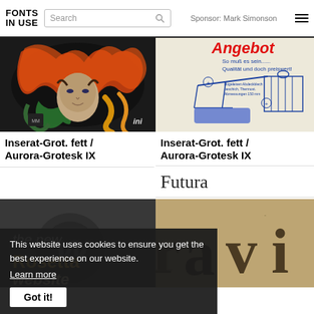FONTS IN USE | Search | Sponsor: Mark Simonson
[Figure (photo): Psychedelic album cover with woman's face surrounded by swirling colorful hair]
[Figure (illustration): German catalog/advertisement page showing household items (ironing board, toolbox) with text 'Angebot So muss es sein...... Qualität und doch preiswert!']
Inserat-Grot. fett / Aurora-Grotesk IX
Inserat-Grot. fett / Aurora-Grotesk IX
Futura
[Figure (photo): Dark background with text overlay showing 'Rosetta website' and decorative swirling text]
[Figure (photo): Vintage typographic display with ornate lettering on aged background]
This website uses cookies to ensure you get the best experience on our website. Learn more
Got it!